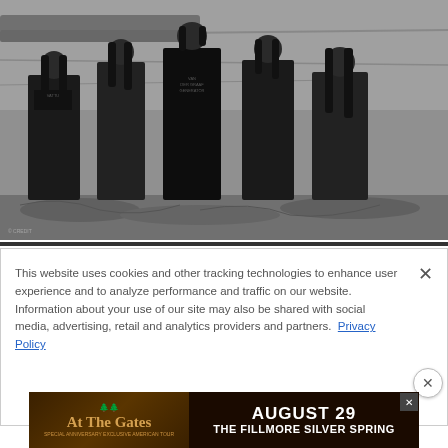[Figure (photo): Black and white photo of five metal band members standing on rocky terrain. They are wearing dark band t-shirts, some with long hair. The background shows rock formations.]
This website uses cookies and other tracking technologies to enhance user experience and to analyze performance and traffic on our website. Information about your use of our site may also be shared with social media, advertising, retail and analytics providers and partners. Privacy Policy
[Figure (photo): Advertisement banner for At The Gates concert: AUGUST 29, THE FILLMORE SILVER SPRING. Dark background with band logo and event details.]